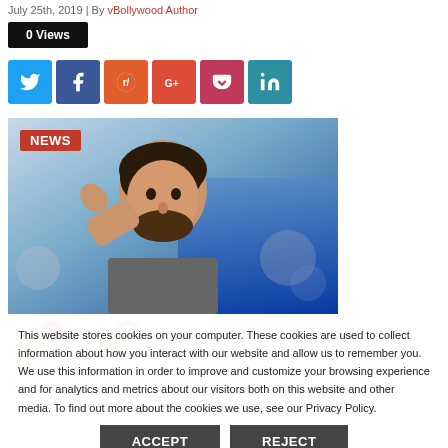July 25th, 2019 | By vBollywood Author
0 Views
[Figure (infographic): Social sharing buttons: Twitter (blue), Facebook (dark blue), Reddit (orange), Google+ (red), Pocket (pink/red), LinkedIn (teal)]
[Figure (photo): Photo of a bearded man raising his hand, with a NEWS badge overlay in red. Blue background.]
[Figure (infographic): Thumbs up emoji with red badge showing 0 and thumbs down emoji with red badge showing 0]
This website stores cookies on your computer. These cookies are used to collect information about how you interact with our website and allow us to remember you. We use this information in order to improve and customize your browsing experience and for analytics and metrics about our visitors both on this website and other media. To find out more about the cookies we use, see our Privacy Policy.
ACCEPT  REJECT